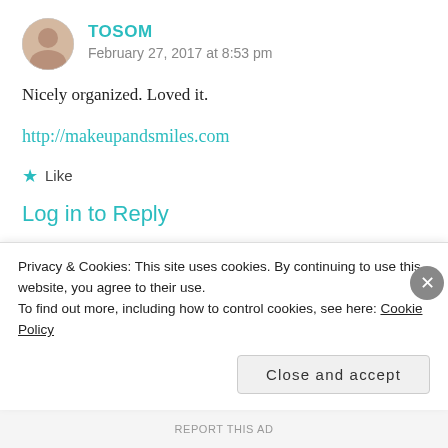[Figure (photo): Circular avatar photo of a woman]
TOSOM
February 27, 2017 at 8:53 pm
Nicely organized. Loved it.
http://makeupandsmiles.com
★ Like
Log in to Reply
[Figure (photo): Circular avatar for BEAUTYHOLICS101 with circular text logo]
BEAUTYHOLICS101
Privacy & Cookies: This site uses cookies. By continuing to use this website, you agree to their use.
To find out more, including how to control cookies, see here: Cookie Policy
Close and accept